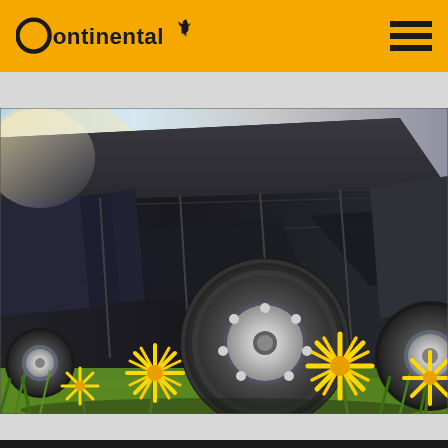Continental logo and navigation header
[Figure (photo): Low-angle photograph of a large black semi-truck with chrome wheel hub, viewed from ground level with green grass and yellow dandelion flowers in the foreground on a sunny day]